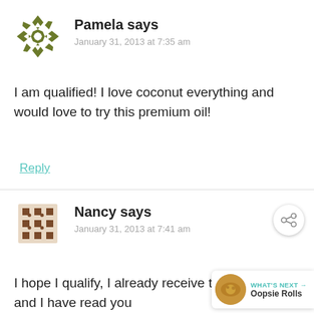[Figure (illustration): Green geometric star/snowflake avatar icon for user Pamela]
Pamela says
January 31, 2013 at 7:35 am
I am qualified! I love coconut everything and would love to try this premium oil!
Reply
[Figure (illustration): Brown geometric diamond/square pattern avatar icon for user Nancy]
Nancy says
January 31, 2013 at 7:41 am
I hope I qualify, I already receive their newsletter and I have read you